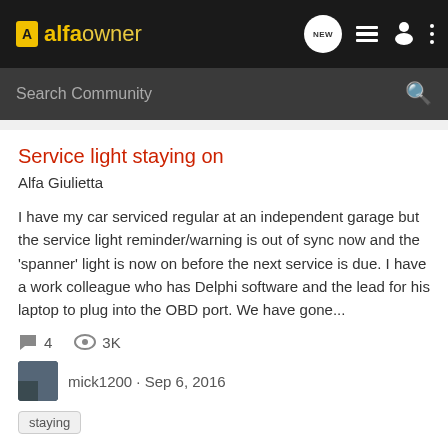alfaowner
Search Community
Service light staying on
Alfa Giulietta
I have my car serviced regular at an independent garage but the service light reminder/warning is out of sync now and the 'spanner' light is now on before the next service is due. I have a work colleague who has Delphi software and the lead for his laptop to plug into the OBD port. We have gone...
4  3K
mick1200 · Sep 6, 2016
staying
156 Interior Lights Staying On